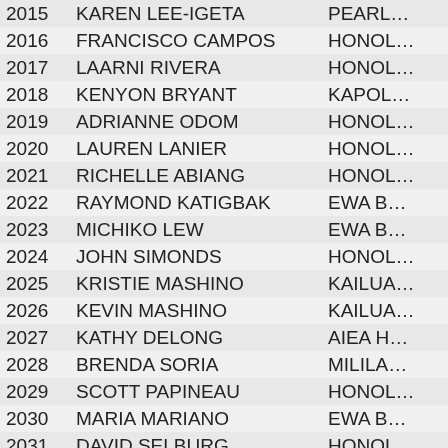| Year | Name | City |
| --- | --- | --- |
| 2015 | KAREN LEE-IGETA | PEARL… |
| 2016 | FRANCISCO CAMPOS | HONOL… |
| 2017 | LAARNI RIVERA | HONOL… |
| 2018 | KENYON BRYANT | KAPOL… |
| 2019 | ADRIANNE ODOM | HONOL… |
| 2020 | LAUREN LANIER | HONOL… |
| 2021 | RICHELLE ABIANG | HONOL… |
| 2022 | RAYMOND KATIGBAK | EWA B… |
| 2023 | MICHIKO LEW | EWA B… |
| 2024 | JOHN SIMONDS | HONOL… |
| 2025 | KRISTIE MASHINO | KAILUA… |
| 2026 | KEVIN MASHINO | KAILUA… |
| 2027 | KATHY DELONG | AIEA H… |
| 2028 | BRENDA SORIA | MILILA… |
| 2029 | SCOTT PAPINEAU | HONOL… |
| 2030 | MARIA MARIANO | EWA B… |
| 2031 | DAVID SELBURG | HONOL… |
| 2032 | MARINA PAPINEAU | HONOL… |